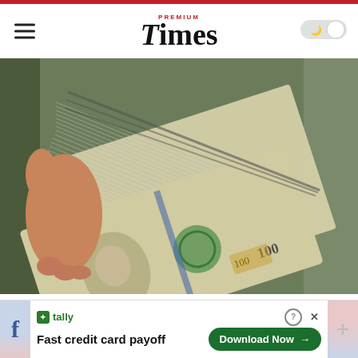PREMIUM Times
[Figure (photo): A hand holding a large stack of US $100 bills fanned out, photographed from above at an angle.]
Born Before 1965? Claim These 5 Senior Reb...
The Wallet Wizard
[Figure (other): Tally advertisement banner: Fast credit card payoff. Download Now button.]